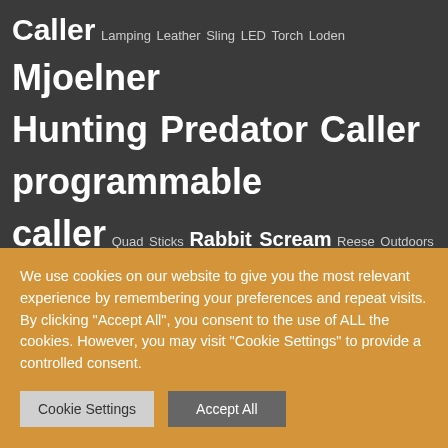Caller Lamping Leather Sling LED Torch Loden Mjoelner Hunting Predator Caller programmable caller Quad Sticks Rabbit Scream Reese Outdoors Rifle Sling Rocky Mountain Calls Safety Gun Strap Scope Cover Shooting Sticks Sling SniperHog Stock Riser Stock Riser Kit Tenterfield TRIPOD TShirt UK FOX CALLS
[Figure (logo): Circular black logo with text 'RIZED SALES' in distressed white font]
We use cookies on our website to give you the most relevant experience by remembering your preferences and repeat visits. By clicking "Accept All", you consent to the use of ALL the cookies. However, you may visit "Cookie Settings" to provide a controlled consent.
Cookie Settings   Accept All